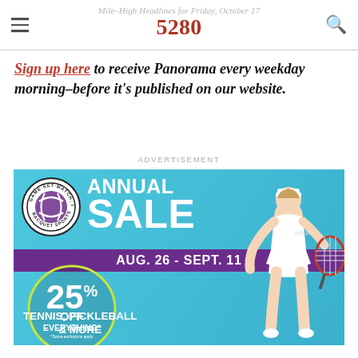Mile-High Headlines for Friday, October 17 — 5280
Sign up here to receive Panorama every weekday morning–before it's published on our website.
ADVERTISEMENT
[Figure (photo): Game Set Match Inc. Racquet Sports Annual Sale advertisement. AUG. 26 - SEPT. 11. 25% OFF EVERYTHING*. *Some exclusions apply. TENNIS, PICKLEBALL & MORE. Features a female tennis player in white athletic wear holding a racket, on a blue background.]